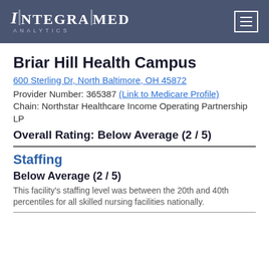INTEGRAMED ANALYTICS
Briar Hill Health Campus
600 Sterling Dr, North Baltimore, OH 45872
Provider Number: 365387 (Link to Medicare Profile)
Chain: Northstar Healthcare Income Operating Partnership LP
Overall Rating: Below Average (2 / 5)
Staffing
Below Average (2 / 5)
This facility's staffing level was between the 20th and 40th percentiles for all skilled nursing facilities nationally.